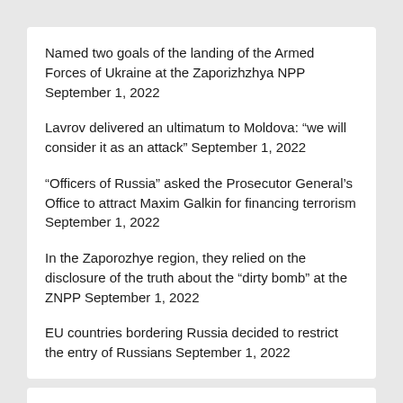Named two goals of the landing of the Armed Forces of Ukraine at the Zaporizhzhya NPP September 1, 2022
Lavrov delivered an ultimatum to Moldova: “we will consider it as an attack” September 1, 2022
“Officers of Russia” asked the Prosecutor General’s Office to attract Maxim Galkin for financing terrorism September 1, 2022
In the Zaporozhye region, they relied on the disclosure of the truth about the “dirty bomb” at the ZNPP September 1, 2022
EU countries bordering Russia decided to restrict the entry of Russians September 1, 2022
| M | T | W | T | F | S | S |
| --- | --- | --- | --- | --- | --- | --- |